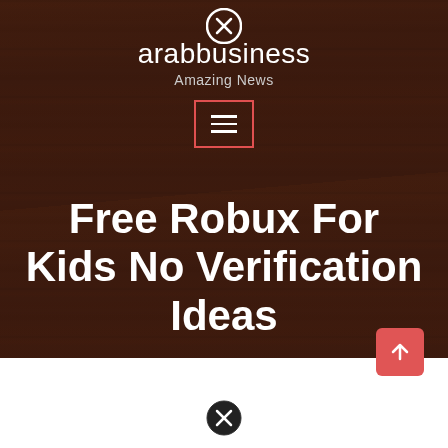[Figure (screenshot): Wood-textured dark brown background covering the top portion of a website header]
arabbusiness
Amazing News
Free Robux For Kids No Verification Ideas